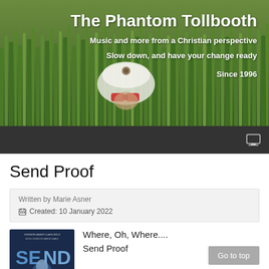[Figure (photo): Banner photo of a person lying in tall green grass wearing a white helmet with a door knocker, holding red binoculars, used as the website header background for The Phantom Tollbooth]
The Phantom Tollbooth
Music and more from a Christian perspective
Slow down, and have your change ready
Since 1996
Send Proof
Written by Marie Asner
Created: 10 January 2022
[Figure (photo): Movie poster thumbnail for 'Send Proof' showing cast names including Johnson, Baker, Clark, Bold at the top]
Where, Oh, Where....
Send Proof